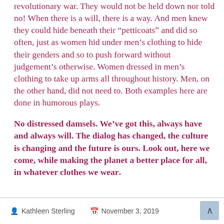revolutionary war. They would not be held down nor told no! When there is a will, there is a way. And men knew they could hide beneath their “petticoats” and did so often, just as women hid under men’s clothing to hide their genders and so to push forward without judgement’s otherwise. Women dressed in men’s clothing to take up arms all throughout history. Men, on the other hand, did not need to. Both examples here are done in humorous plays.
No distressed damsels. We’ve got this, always have and always will. The dialog has changed, the culture is changing and the future is ours. Look out, here we come, while making the planet a better place for all, in whatever clothes we wear.
Kathleen Sterling   November 3, 2019